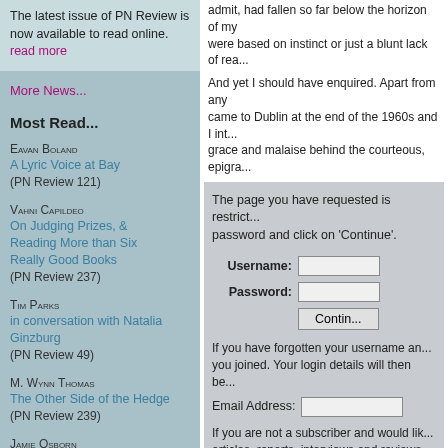The latest issue of PN Review is now available to read online. read more
More News...
Most Read...
Eavan Boland
A Lyric Voice at Bay
(PN Review 121)
Vahni Capildeo
On Judging Prizes, & Reading More than Six Really Good Books
(PN Review 237)
Tim Parks
in conversation with Natalia Ginzburg
(PN Review 49)
M. Wynn Thomas
The Other Side of the Hedge
(PN Review 239)
Jamie Osborn
In conversation with Sasha Dugdale
(PN Review 240)
Drew Milne
Tom Raworth's Writing
admit, had fallen so far below the horizon of my ... were based on instinct or just a blunt lack of rea...
And yet I should have enquired. Apart from any ... came to Dublin at the end of the 1960s and I int... grace and malaise behind the courteous, epigra...
The page you have requested is restrict... password and click on 'Continue'.
Username: [input]
Password: [input]
[Continue button]
If you have forgotten your username an... you joined. Your login details will then be...
Email Address: [input]
If you are not a subscriber and would lik... articles, reports, interviews and reviews...